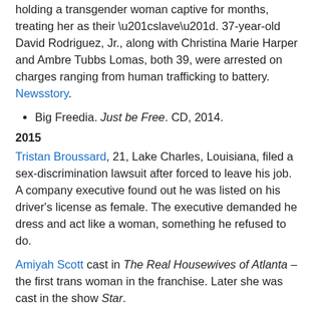holding a transgender woman captive for months, treating her as their “slave”. 37-year-old David Rodriguez, Jr., along with Christina Marie Harper and Ambre Tubbs Lomas, both 39, were arrested on charges ranging from human trafficking to battery. Newsstory.
Big Freedia. Just be Free. CD, 2014.
2015
Tristan Broussard, 21, Lake Charles, Louisiana, filed a sex-discrimination lawsuit after forced to leave his job. A company executive found out he was listed on his driver’s license as female. The executive demanded he dress and act like a woman, something he refused to do.
Amiyah Scott cast in The Real Housewives of Atlanta – the first trans woman in the franchise. Later she was cast in the show Star.
Murdered: Penny Proud.
2016